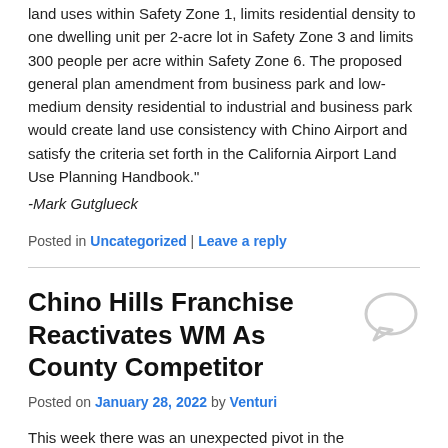land uses within Safety Zone 1, limits residential density to one dwelling unit per 2-acre lot in Safety Zone 3 and limits 300 people per acre within Safety Zone 6. The proposed general plan amendment from business park and low-medium density residential to industrial and business park would create land use consistency with Chino Airport and satisfy the criteria set forth in the California Airport Land Use Planning Handbook."
-Mark Gutglueck
Posted in Uncategorized | Leave a reply
Chino Hills Franchise Reactivates WM As County Competitor
Posted on January 28, 2022 by Venturi
This week there was an unexpected pivot in the